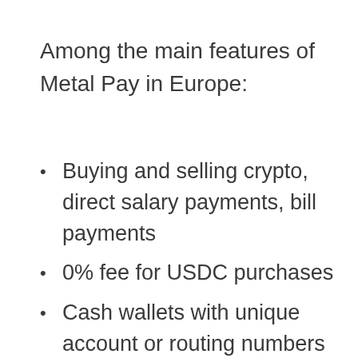Among the main features of Metal Pay in Europe:
Buying and selling crypto, direct salary payments, bill payments
0% fee for USDC purchases
Cash wallets with unique account or routing numbers
Services authorized by an EMI license in Lithuania and a VASP license in Estonia